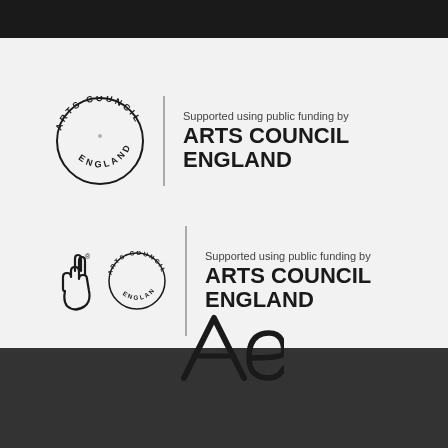[Figure (logo): Arts Council England logo (circle text mark) with 'Supported using public funding by ARTS COUNCIL ENGLAND' text]
[Figure (logo): National Lottery Funded + Arts Council England logo with 'Supported using public funding by ARTS COUNCIL ENGLAND' text]
[Figure (logo): Partial Arts Council logo (Ae letterform) partially visible at bottom of main area]
This site uses cookies. By continuing to browse the site, you are agreeing to our use of cookies.
Accept settings
Hide notification only
Settings